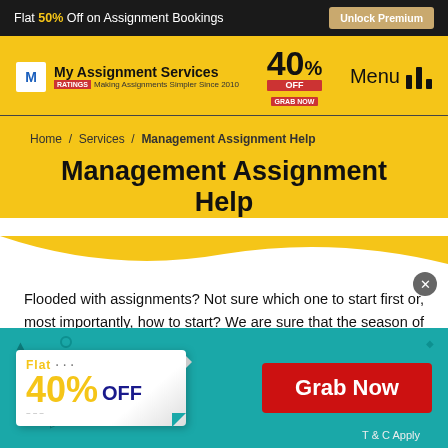Flat 50% Off on Assignment Bookings | Unlock Premium
[Figure (logo): My Assignment Services logo with tagline Making Assignments Simpler Since 2010, 40% OFF promo badge, and Menu icon]
Home / Services / Management Assignment Help
Management Assignment Help
Flooded with assignments? Not sure which one to start first or, most importantly, how to start? We are sure that the season of assignments has officially
[Figure (infographic): Teal promotional banner: Flat 40% OFF badge with Grab Now red button and T & C Apply text]